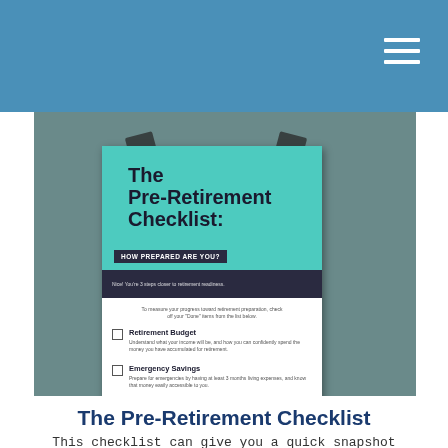[Figure (photo): Photo of a printed Pre-Retirement Checklist document taped to a grey-green wall. The document shows a teal header reading 'The Pre-Retirement Checklist: HOW PREPARED ARE YOU?' followed by checklist items including Retirement Budget, Emergency Savings, and Tax Strategy.]
The Pre-Retirement Checklist
This checklist can give you a quick snapshot of how prepared you are.